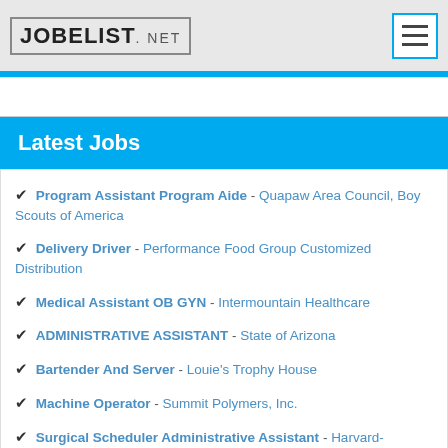JOBELIST.NET
Latest Jobs
Program Assistant Program Aide - Quapaw Area Council, Boy Scouts of America
Delivery Driver - Performance Food Group Customized Distribution
Medical Assistant OB GYN - Intermountain Healthcare
ADMINISTRATIVE ASSISTANT - State of Arizona
Bartender And Server - Louie's Trophy House
Machine Operator - Summit Polymers, Inc.
Surgical Scheduler Administrative Assistant - Harvard-Affiliated Academic Hospital in Boston
Server - Olive Garden
Dishwasher - Olive Garden